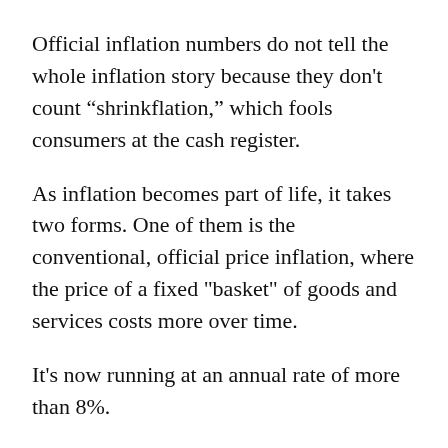Official inflation numbers do not tell the whole inflation story because they don't count “shrinkflation,” which fools consumers at the cash register.
As inflation becomes part of life, it takes two forms. One of them is the conventional, official price inflation, where the price of a fixed "basket" of goods and services costs more over time.
It's now running at an annual rate of more than 8%.
The other inflation is shrinkflation, where the price of the basket of goods and services remains the same over time, but the items included in it get smaller. Prices don't increase — they shrink.